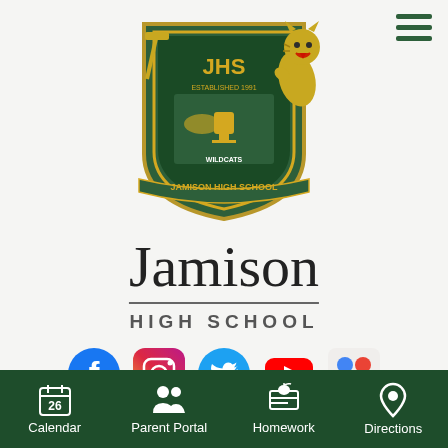[Figure (logo): Jamison High School shield logo with wildcat mascot, green and gold colors, 'JHS Established 1991' text, 'Wildcats' and 'Jamison High School' banners]
Jamison
HIGH SCHOOL
[Figure (infographic): Row of social media icons: Facebook (blue circle with F), Instagram (gradient camera icon), Twitter (blue bird), YouTube (red play button), ParentSquare (colored dots logo)]
Calendar | Parent Portal | Homework | Directions